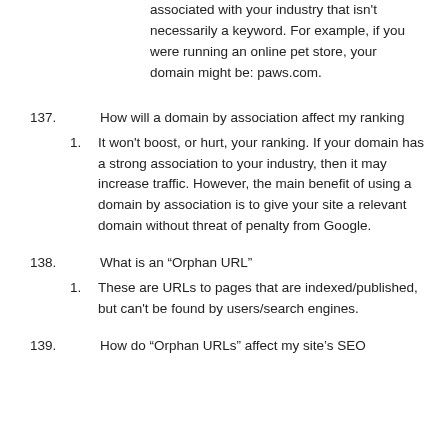associated with your industry that isn't necessarily a keyword. For example, if you were running an online pet store, your domain might be: paws.com.
137. How will a domain by association affect my ranking
1. It won't boost, or hurt, your ranking. If your domain has a strong association to your industry, then it may increase traffic. However, the main benefit of using a domain by association is to give your site a relevant domain without threat of penalty from Google.
138. What is an “Orphan URL”
1. These are URLs to pages that are indexed/published, but can't be found by users/search engines.
139. How do “Orphan URLs” affect my site’s SEO